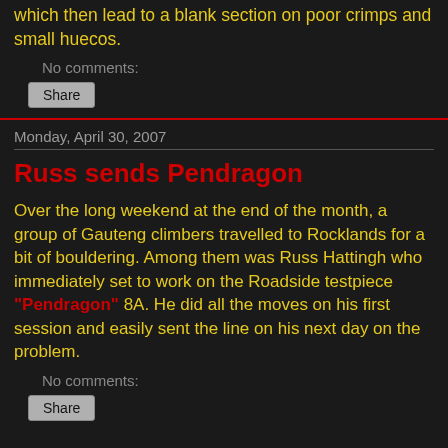which then lead to a blank section on poor crimps and small huecos.
No comments:
Share
Monday, April 30, 2007
Russ sends Pendragon
Over the long weekend at the end of the month, a group of Gauteng climbers travelled to Rocklands for a bit of bouldering. Among them was Russ Hattingh who immediately set to work on the Roadside testpiece "Pendragon" 8A. He did all the moves on his first session and easily sent the line on his next day on the problem.
No comments:
Share